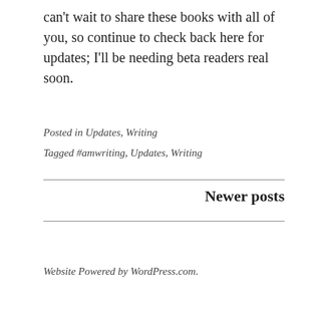can't wait to share these books with all of you, so continue to check back here for updates; I'll be needing beta readers real soon.
Posted in Updates, Writing
Tagged #amwriting, Updates, Writing
Newer posts
Website Powered by WordPress.com.